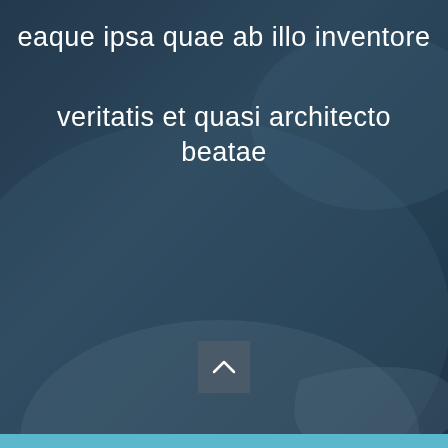[Figure (photo): Blue-tinted medical scene showing hands of a healthcare provider holding a patient's hand with an IV/bandage, overlaid with semi-transparent dark blue filter]
eaque ipsa quae ab illo inventore
veritatis et quasi architecto beatae